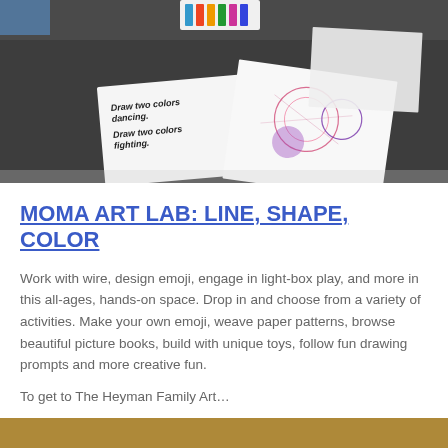[Figure (photo): Photo of art supplies on a table: colored pencils, paper cards with text 'Draw two colors dancing. Draw two colors fighting.', and paper with circular drawings in red and purple.]
MOMA ART LAB: LINE, SHAPE, COLOR
Work with wire, design emoji, engage in light-box play, and more in this all-ages, hands-on space. Drop in and choose from a variety of activities. Make your own emoji, weave paper patterns, browse beautiful picture books, build with unique toys, follow fun drawing prompts and more creative fun.
To get to The Heyman Family Art…
More info
[Figure (photo): Partial photo visible at the bottom of the page, showing a warm golden-toned scene.]